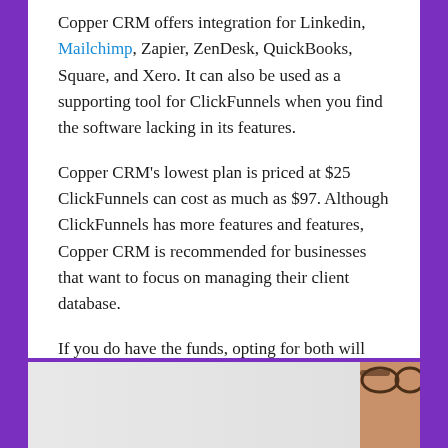Copper CRM offers integration for Linkedin, Mailchimp, Zapier, ZenDesk, QuickBooks, Square, and Xero. It can also be used as a supporting tool for ClickFunnels when you find the software lacking in its features.
Copper CRM's lowest plan is priced at $25 ClickFunnels can cost as much as $97. Although ClickFunnels has more features and features, Copper CRM is recommended for businesses that want to focus on managing their client database.
If you do have the funds, opting for both will ensure that you have the best tools to expand your business and achieve your goals. ClickFunnels can assist you in growing your business, and Copper CRM makes sure you control it effectively.
[Figure (photo): Partial photo of a person wearing glasses, cropped showing the right side of face and glasses against a light grey background]